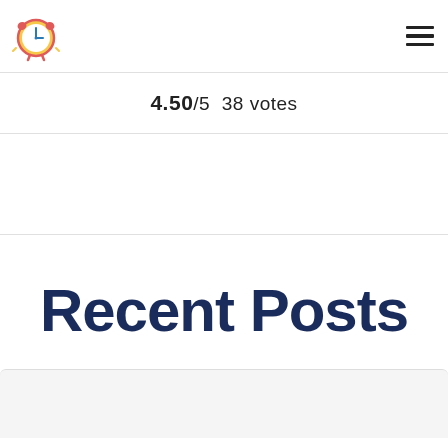Logo and navigation header
4.50/5  38 votes
Recent Posts